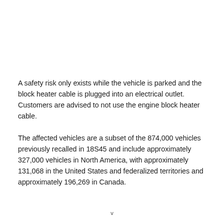A safety risk only exists while the vehicle is parked and the block heater cable is plugged into an electrical outlet. Customers are advised to not use the engine block heater cable.
The affected vehicles are a subset of the 874,000 vehicles previously recalled in 18S45 and include approximately 327,000 vehicles in North America, with approximately 131,068 in the United States and federalized territories and approximately 196,269 in Canada.
v